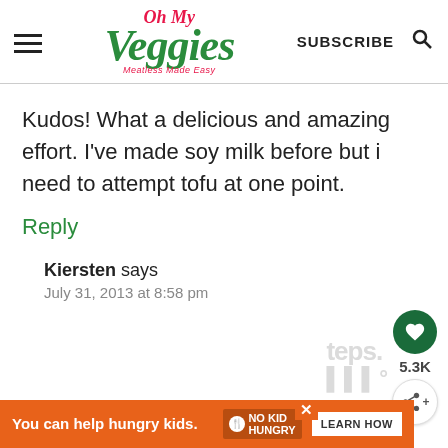[Figure (logo): Oh My Veggies website logo with hamburger menu, subscribe text, and search icon]
Kudos! What a delicious and amazing effort. I've made soy milk before but i need to attempt tofu at one point.
Reply
Kiersten says
July 31, 2013 at 8:58 pm
[Figure (infographic): Ad banner: You can help hungry kids. No Kid Hungry. LEARN HOW]
5.3K